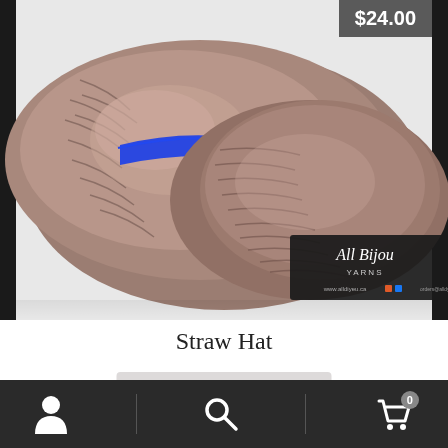[Figure (photo): Skeins of brownish-mauve/taupe yarn with a blue ribbon band, laid on a white surface with an 'All Bijou' brand tag visible at the bottom.]
$24.00
Straw Hat
Read more
Navigation bar with user icon, search icon, and cart icon (0 items)